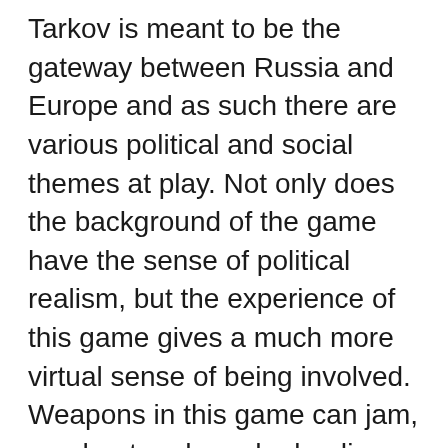Tarkov is meant to be the gateway between Russia and Europe and as such there are various political and social themes at play. Not only does the background of the game have the sense of political realism, but the experience of this game gives a much more virtual sense of being involved. Weapons in this game can jam, overheat and need reloading. There are real-life ballistics and bullet physics. The customisations allow for no weapon to be the same which provides a much deeper level of gear and kits to be used by characters as everyone creates their version of ‘the perfect’ setup.